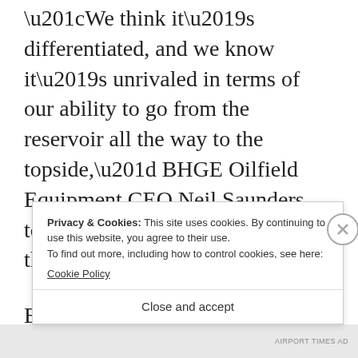“We think it’s differentiated, and we know it’s unrivaled in terms of our ability to go from the reservoir all the way to the topside,” BHGE Oilfield Equipment CEO Neil Saunders told members of the media during the launch in Houston Nov. 28.
BHGE believes they can influence 80 percent of the costs associated with offshore projects through its fullstream portfolio.
Privacy & Cookies: This site uses cookies. By continuing to use this website, you agree to their use.
To find out more, including how to control cookies, see here:
Cookie Policy
Close and accept